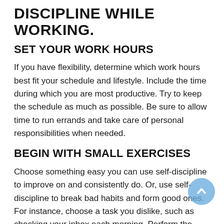DISCIPLINE WHILE WORKING.
SET YOUR WORK HOURS
If you have flexibility, determine which work hours best fit your schedule and lifestyle. Include the time during which you are most productive. Try to keep the schedule as much as possible. Be sure to allow time to run errands and take care of personal responsibilities when needed.
BEGIN WITH SMALL EXERCISES
Choose something easy you can use self-discipline to improve on and consistently do. Or, use self-discipline to break bad habits and form good ones. For instance, choose a task you dislike, such as checking your inbox each morning. Perform the task first thing each day. Then, reward yourself with something else you like, such as a cup of coffee. After a few weeks, you should